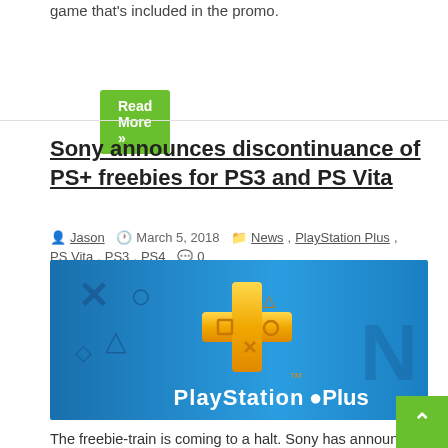game that's included in the promo.
Read More »
Sony announces discontinuance of PS+ freebies for PS3 and PS Vita
Jason   March 5, 2018   News, PlayStation Plus, PS Vita, PS3, PS4   0
[Figure (photo): PlayStation Plus logo on a blue gradient background with PlayStation controller button symbols (X, O, triangle, square) visible. A large golden PS+ cross logo is centered with 'PlayStation Plus' text below in white.]
The freebie-train is coming to a halt. Sony has announced that PlayStation Plus free games will officially dried up for the PS3 and the PS Vita in a year.